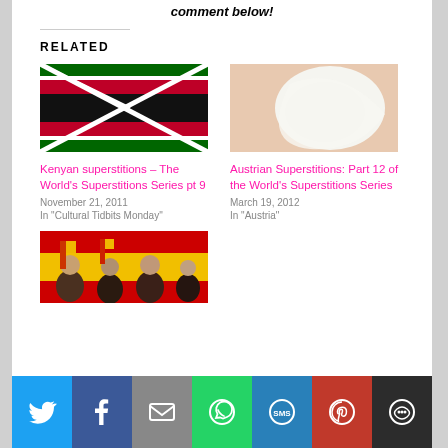comment below!
RELATED
[Figure (photo): Kenyan flag with red, green, black and white colors]
Kenyan superstitions – The World's Superstitions Series pt 9
November 21, 2011
In "Cultural Tidbits Monday"
[Figure (photo): White curved fabric or cloth shape on peach background]
Austrian Superstitions: Part 12 of the World's Superstitions Series
March 19, 2012
In "Austria"
[Figure (photo): Crowd of people holding Spanish flags]
Social sharing bar with Twitter, Facebook, Email, WhatsApp, SMS, Pinterest, More buttons